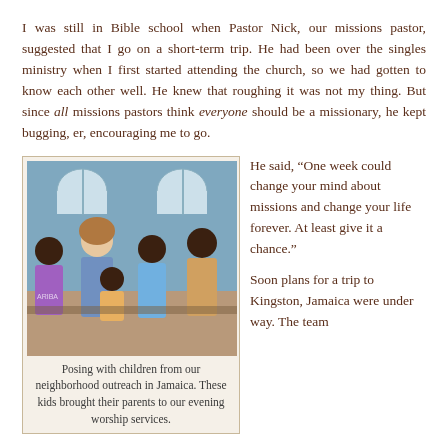I was still in Bible school when Pastor Nick, our missions pastor, suggested that I go on a short-term trip. He had been over the singles ministry when I first started attending the church, so we had gotten to know each other well. He knew that roughing it was not my thing. But since all missions pastors think everyone should be a missionary, he kept bugging, er, encouraging me to go.
[Figure (photo): A woman posing with four children from a neighborhood outreach in Jamaica, seated together in a room with blue walls and arched windows.]
Posing with children from our neighborhood outreach in Jamaica. These kids brought their parents to our evening worship services.
He said, “One week could change your mind about missions and change your life forever. At least give it a chance.”
Soon plans for a trip to Kingston, Jamaica were under way. The team